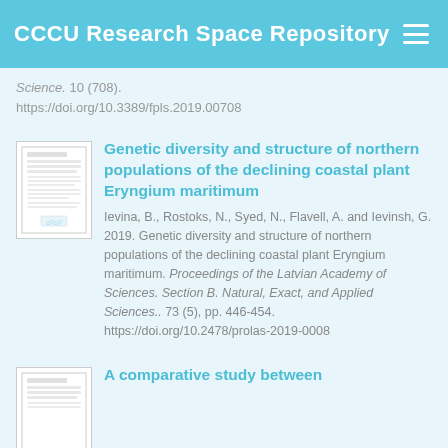CCCU Research Space Repository
Science. 10 (708).
https://doi.org/10.3389/fpls.2019.00708
Genetic diversity and structure of northern populations of the declining coastal plant Eryngium maritimum
Ievina, B., Rostoks, N., Syed, N., Flavell, A. and Ievinsh, G. 2019. Genetic diversity and structure of northern populations of the declining coastal plant Eryngium maritimum. Proceedings of the Latvian Academy of Sciences. Section B. Natural, Exact, and Applied Sciences.. 73 (5), pp. 446-454. https://doi.org/10.2478/prolas-2019-0008
A comparative study between